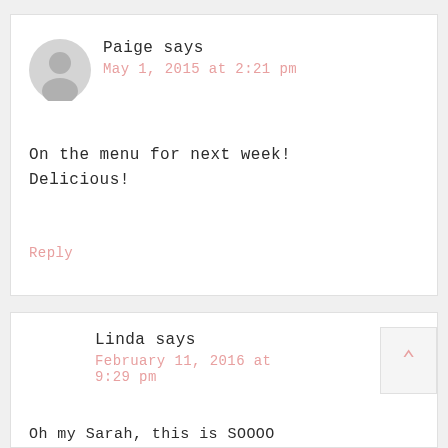Paige says
May 1, 2015 at 2:21 pm
On the menu for next week! Delicious!
Reply
Linda says
February 11, 2016 at 9:29 pm
Oh my Sarah, this is SOOOO